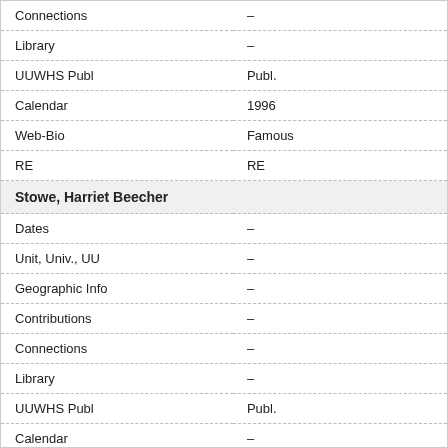| Field | Value |
| --- | --- |
| Connections | – |
| Library | – |
| UUWHS Publ | Publ. |
| Calendar | 1996 |
| Web-Bio | Famous |
| RE | RE |
| Stowe, Harriet Beecher |  |
| Dates | – |
| Unit, Univ., UU | – |
| Geographic Info | – |
| Contributions | – |
| Connections | – |
| Library | – |
| UUWHS Publ | Publ. |
| Calendar | – |
| Web-Bio | – |